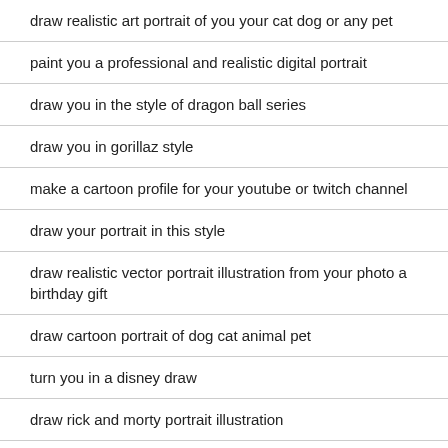draw realistic art portrait of you your cat dog or any pet
paint you a professional and realistic digital portrait
draw you in the style of dragon ball series
draw you in gorillaz style
make a cartoon profile for your youtube or twitch channel
draw your portrait in this style
draw realistic vector portrait illustration from your photo a birthday gift
draw cartoon portrait of dog cat animal pet
turn you in a disney draw
draw rick and morty portrait illustration
create an awesome wrap pop art